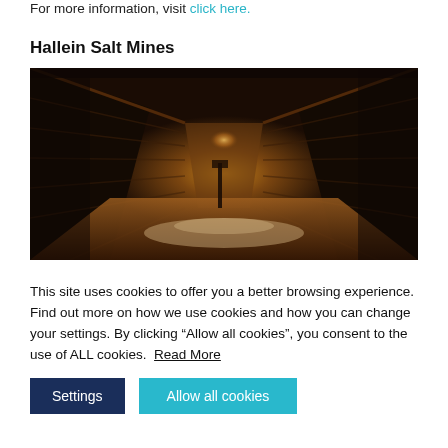For more information, visit click here.
Hallein Salt Mines
[Figure (photo): Interior of the Hallein Salt Mines showing a dark tunnel corridor with wooden beam supports receding into the distance, lit by warm yellow light at the far end, with salt-covered floor and walls.]
This site uses cookies to offer you a better browsing experience. Find out more on how we use cookies and how you can change your settings. By clicking “Allow all cookies”, you consent to the use of ALL cookies.  Read More
Settings   Allow all cookies